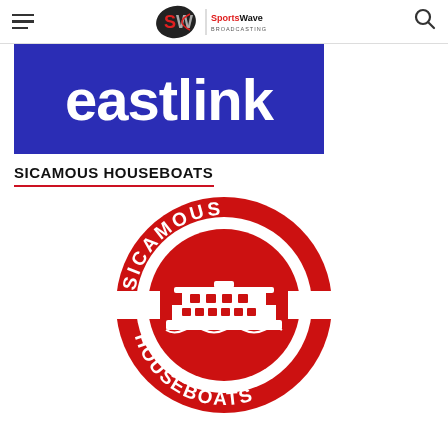SportsWave Broadcasting
[Figure (logo): Eastlink logo: white text 'eastlink' on dark blue/purple background rectangle]
SICAMOUS HOUSEBOATS
[Figure (logo): Sicamous Houseboats circular logo: red circle with white text 'SICAMOUS HOUSEBOATS' around the border, white inner circle with red houseboat illustration in center, white horizontal bars on sides]